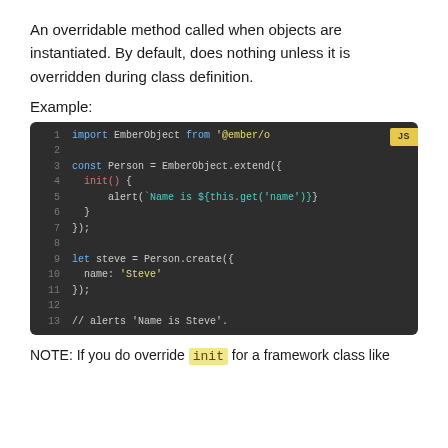An overridable method called when objects are instantiated. By default, does nothing unless it is overridden during class definition.
Example:
[Figure (screenshot): Dark-themed JavaScript code block with line numbers 1-13 showing an EmberObject example with init() method, and a 'JS' badge in the top-right corner.]
NOTE: If you do override init for a framework class like